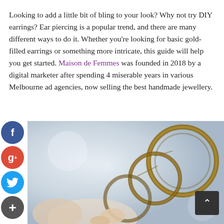Looking to add a little bit of bling to your look? Why not try DIY earrings? Ear piercing is a popular trend, and there are many different ways to do it. Whether you're looking for basic gold-filled earrings or something more intricate, this guide will help you get started. Maison de Femmes was founded in 2018 by a digital marketer after spending 4 miserable years in various Melbourne ad agencies, now selling the best handmade jewellery.
[Figure (photo): Close-up photo of copper/bronze earrings or jewellery rings being held, with a blurred light grey background. Social media share buttons (Facebook, Google+, Twitter, Add) appear on the left side. A scroll-to-top button appears in the bottom right.]